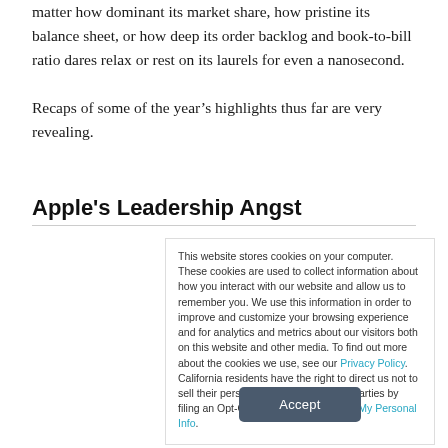matter how dominant its market share, how pristine its balance sheet, or how deep its order backlog and book-to-bill ratio dares relax or rest on its laurels for even a nanosecond.
Recaps of some of the year's highlights thus far are very revealing.
Apple's Leadership Angst
This website stores cookies on your computer. These cookies are used to collect information about how you interact with our website and allow us to remember you. We use this information in order to improve and customize your browsing experience and for analytics and metrics about our visitors both on this website and other media. To find out more about the cookies we use, see our Privacy Policy. California residents have the right to direct us not to sell their personal information to third parties by filing an Opt-Out Request: Do Not Sell My Personal Info.
Accept